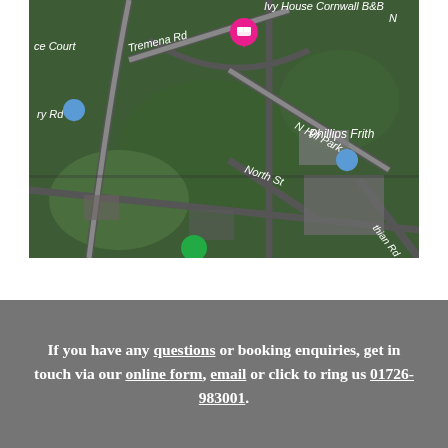[Figure (map): Aerial satellite map showing Ivy House Cornwall B&B location with surrounding streets including Tremena Rd, N Hill Park, North St, Phillips Frith, and other local roads. Pink location pin marks Ivy House Cornwall B&B, blue pin marks Phillips Frith area.]
If you have any questions or booking enquiries, get in touch via our online form, email or click to ring us 01726-983001.